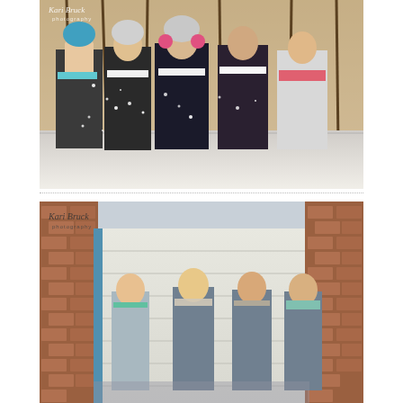[Figure (photo): Five teenage girls standing outdoors in a snowy wooded setting, blowing snow from their hands toward the camera. They wear winter clothes including hats, scarves, and dark jackets. A watermark reads 'Kari Bruck photography' in the upper left corner.]
[Figure (photo): Four young women posing in front of a white wooden building with brick walls visible on the sides. They wear casual spring/summer clothing in light colors. A watermark reads 'Kari Bruck photography' in the upper left corner.]